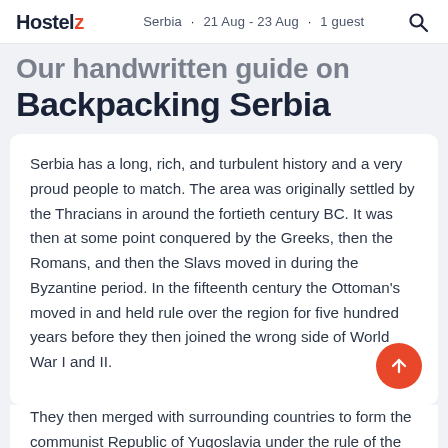Hostelz · Serbia · 21 Aug - 23 Aug · 1 guest
Our handwritten guide on Backpacking Serbia
Serbia has a long, rich, and turbulent history and a very proud people to match. The area was originally settled by the Thracians in around the fortieth century BC. It was then at some point conquered by the Greeks, then the Romans, and then the Slavs moved in during the Byzantine period. In the fifteenth century the Ottoman's moved in and held rule over the region for five hundred years before they then joined the wrong side of World War I and II.
They then merged with surrounding countries to form the communist Republic of Yugoslavia under the rule of the beloved Tito. After his